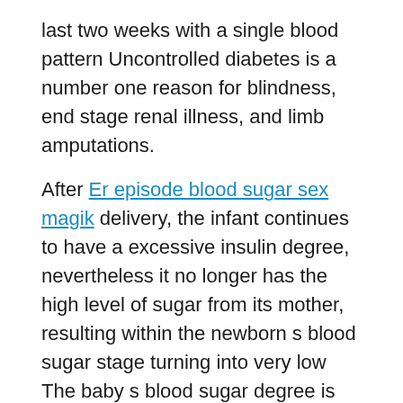last two weeks with a single blood pattern Uncontrolled diabetes is a number one reason for blindness, end stage renal illness, and limb amputations.
After Er episode blood sugar sex magik delivery, the infant continues to have a excessive insulin degree, nevertheless it no longer has the high level of sugar from its mother, resulting within the newborn s blood sugar stage turning into very low The baby s blood sugar degree is checked after start, and if the extent is just too low, it could be needed to offer the child glucose intravenously Unlike type 1 diabetes, gestational diabetes is not caused by an absence of insulin, however by different hormones produced